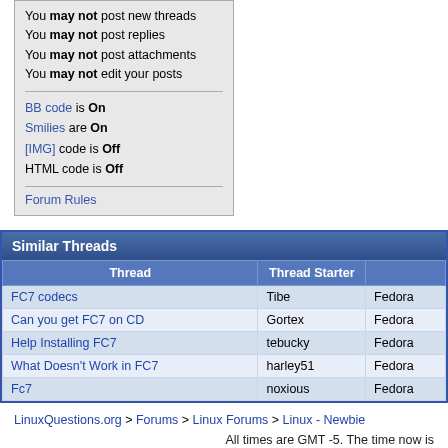You may not post new threads
You may not post replies
You may not post attachments
You may not edit your posts
BB code is On
Smilies are On
[IMG] code is Off
HTML code is Off
Forum Rules
Similar Threads
| Thread | Thread Starter | Forum |
| --- | --- | --- |
| FC7 codecs | Tibe | Fedora |
| Can you get FC7 on CD | Gortex | Fedora |
| Help Installing FC7 | tebucky | Fedora |
| What Doesn't Work in FC7 | harley51 | Fedora |
| Fc7 | noxious | Fedora |
LinuxQuestions.org > Forums > Linux Forums > Linux - Newbie
All times are GMT -5. The time now is
Contact Us - Advertising Info - Rules - Privacy - LQ Merch
Open Source Consulting | Domain Registration